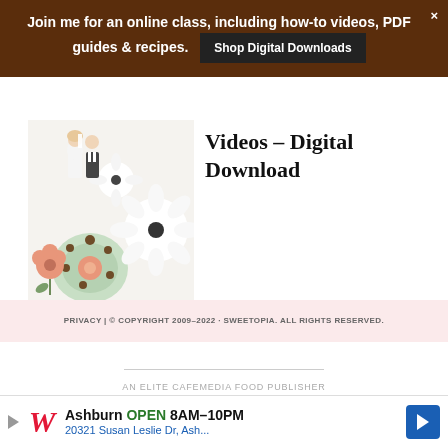Join me for an online class, including how-to videos, PDF guides & recipes. Shop Digital Downloads
[Figure (photo): Cookie decorating photo showing decorated sugar cookies including a bride and groom figure, flower cookies, and floral wreath cookie on a white background]
Videos - Digital Download
PRIVACY | © COPYRIGHT 2009–2022 · SWEETOPIA. ALL RIGHTS RESERVED.
AN ELITE CAFEMEDIA FOOD PUBLISHER
[Figure (photo): Walgreens advertisement: Ashburn OPEN 8AM–10PM, 20321 Susan Leslie Dr, Ash...]